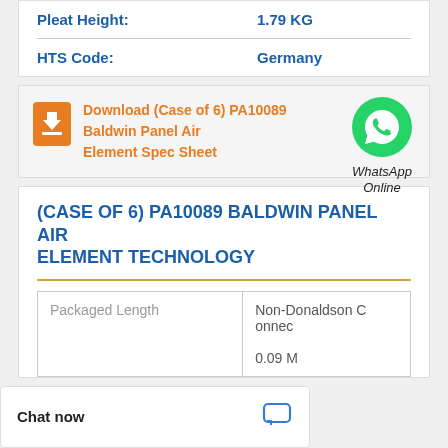| Pleat Height: | 1.79 KG |
| HTS Code: | Germany |
Download (Case of 6) PA10089 Baldwin Panel Air Element Spec Sheet
[Figure (other): WhatsApp Online green circle icon with phone symbol and text 'WhatsApp Online']
(CASE OF 6) PA10089 BALDWIN PANEL AIR ELEMENT TECHNOLOGY
| Packaged Length | Non-Donaldson Connec |
|  | 0.09 M |
Chat now